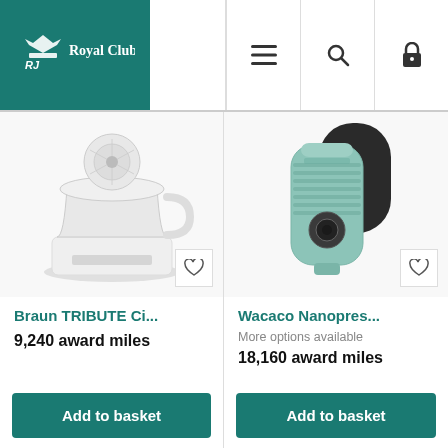[Figure (logo): Royal Club logo - crown and RJ initials in white on teal background, text 'Royal Club']
[Figure (other): Navigation bar with hamburger menu icon, search icon, and lock/account icon]
[Figure (photo): Braun TRIBUTE Citrus juicer - white electric juicer appliance]
Braun TRIBUTE Ci...
9,240 award miles
Add to basket
[Figure (photo): Wacaco Nanopresso - portable espresso maker in mint/teal color with black case]
Wacaco Nanopres...
More options available
18,160 award miles
Add to basket